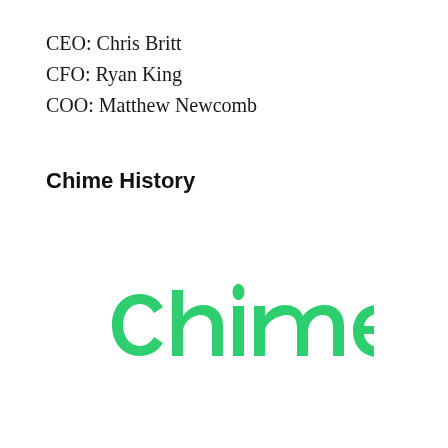CEO: Chris Britt
CFO: Ryan King
COO: Matthew Newcomb
Chime History
[Figure (logo): Chime company logo in green with a water droplet replacing the dot over the letter 'i']